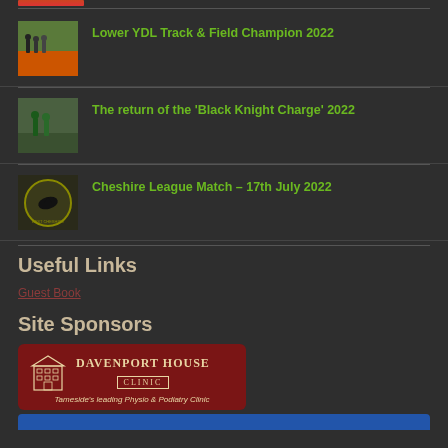[Figure (photo): Partial red/pink image cropped at top of page]
Lower YDL Track & Field Champion 2022
The return of the 'Black Knight Charge' 2022
Cheshire League Match – 17th July 2022
Useful Links
Guest Book
Site Sponsors
[Figure (logo): Davenport House Clinic logo banner – dark red background with building illustration, text: DAVENPORT HOUSE CLINIC, Tameside's leading Physio & Podiatry Clinic]
[Figure (photo): Partial blue banner at bottom of page]